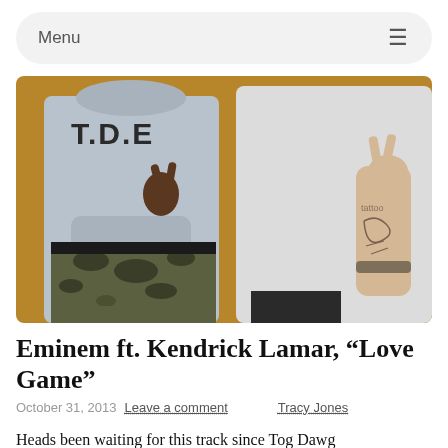Menu ≡
[Figure (photo): Two people posing together. Person on left wears a grey TDE hoodie sweatshirt and camouflage pants, making a peace sign. Person on right wears a white t-shirt with tattoos on their arm, also making a peace sign. Background is a golden/tan wall.]
Eminem ft. Kendrick Lamar, “Love Game”
October 31, 2013  Leave a comment  Tracy Jones
Heads been waiting for this track since Tog Dawg